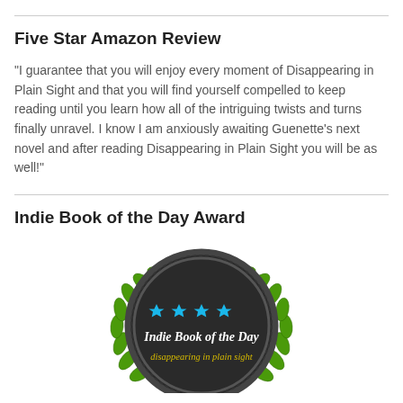Five Star Amazon Review
"I guarantee that you will enjoy every moment of Disappearing in Plain Sight and that you will find yourself compelled to keep reading until you learn how all of the intriguing twists and turns finally unravel. I know I am anxiously awaiting Guenette's next novel and after reading Disappearing in Plain Sight you will be as well!"
Indie Book of the Day Award
[Figure (illustration): Circular award badge with dark background, green leaf wreath border, four blue stars, text 'Indie Book of the Day' in white italic script, and 'disappearing in plain sight' in yellow text at bottom]